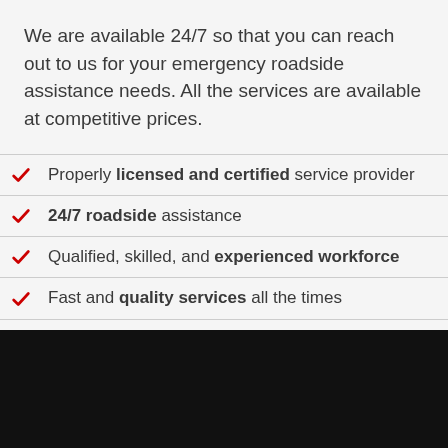We are available 24/7 so that you can reach out to us for your emergency roadside assistance needs. All the services are available at competitive prices.
Properly licensed and certified service provider
24/7 roadside assistance
Qualified, skilled, and experienced workforce
Fast and quality services all the times
Affordable Charges
100% customer satisfaction gauranteed